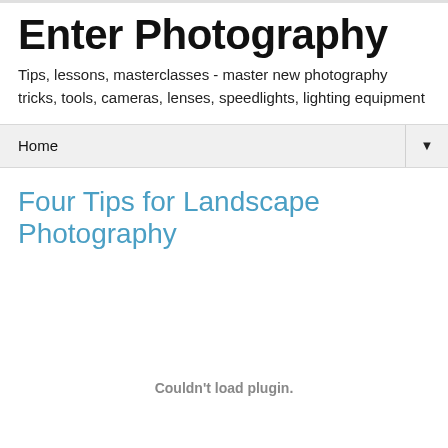Enter Photography
Tips, lessons, masterclasses - master new photography tricks, tools, cameras, lenses, speedlights, lighting equipment
Home
Four Tips for Landscape Photography
Couldn't load plugin.